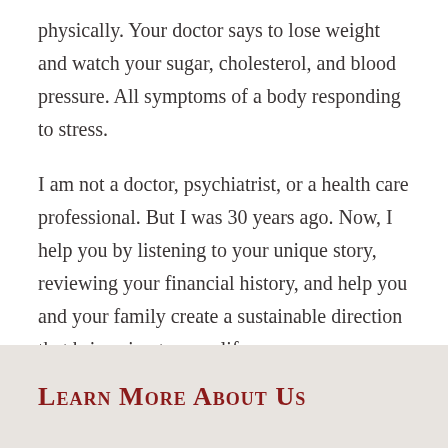physically. Your doctor says to lose weight and watch your sugar, cholesterol, and blood pressure. All symptoms of a body responding to stress.
I am not a doctor, psychiatrist, or a health care professional. But I was 30 years ago. Now, I help you by listening to your unique story, reviewing your financial history, and help you and your family create a sustainable direction that brings joy to your life.
Learn More About Us